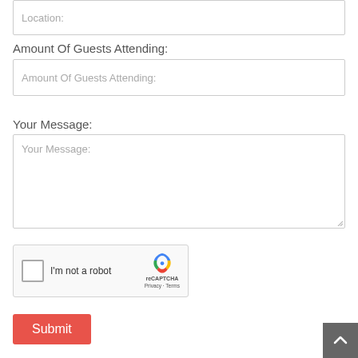Location:
Amount Of Guests Attending:
Amount Of Guests Attending:
Your Message:
Your Message:
[Figure (other): reCAPTCHA widget with checkbox 'I'm not a robot' and reCAPTCHA logo with Privacy and Terms links]
Submit
[Figure (other): Back to top button with upward arrow chevron on dark grey background]